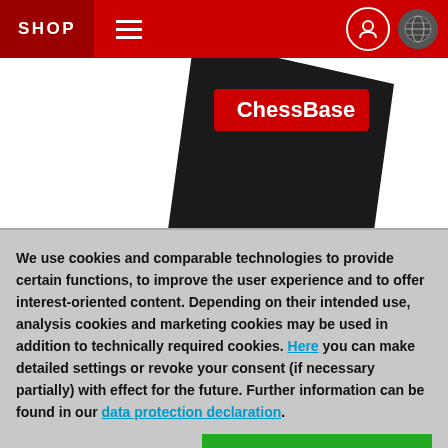SHOP
[Figure (photo): ChessBase product box — a black box with a red 'ChessBase' label on it, shown at an angle against a white background]
66th: GM Stanislas Savchenko, UKR, 2571
[Figure (logo): ChessBase logo strip with chess pattern (checkerboard) on the left and red rounded rectangle on the right]
We use cookies and comparable technologies to provide certain functions, to improve the user experience and to offer interest-oriented content. Depending on their intended use, analysis cookies and marketing cookies may be used in addition to technically required cookies. Here you can make detailed settings or revoke your consent (if necessary partially) with effect for the future. Further information can be found in our data protection declaration.